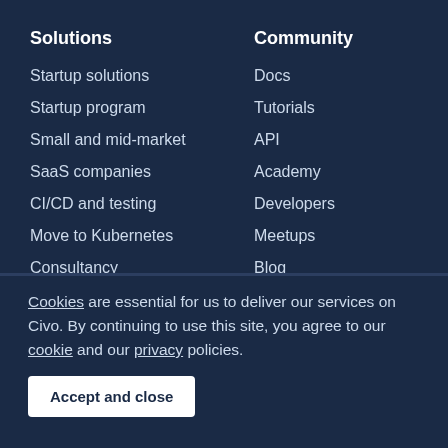Solutions
Startup solutions
Startup program
Small and mid-market
SaaS companies
CI/CD and testing
Move to Kubernetes
Consultancy
Community
Docs
Tutorials
API
Academy
Developers
Meetups
Blog
Ambassadors
KubeQuest
Writ...
Cookies are essential for us to deliver our services on Civo. By continuing to use this site, you agree to our cookie and our privacy policies.
Accept and close